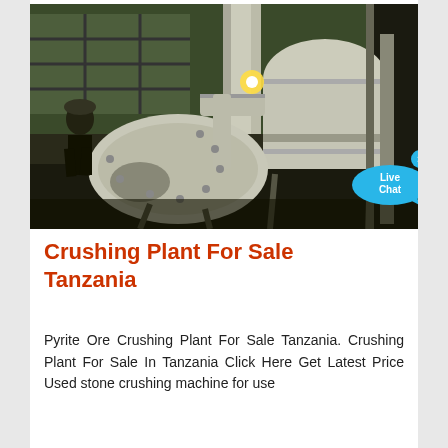[Figure (photo): Industrial crushing plant machinery inside a factory building. A large white cylindrical mill/grinder with connecting pipes and a circular bowl-shaped component visible. A person stands in the background near large windows. The machinery appears to be a grinding or milling machine used in mining or ore processing.]
Crushing Plant For Sale Tanzania
Pyrite Ore Crushing Plant For Sale Tanzania. Crushing Plant For Sale In Tanzania Click Here Get Latest Price Used stone crushing machine for use